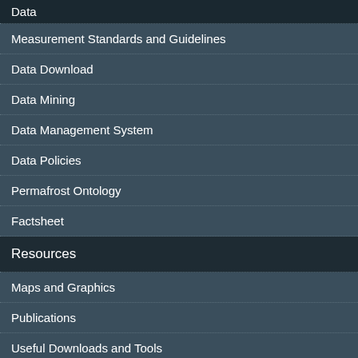Data
Measurement Standards and Guidelines
Data Download
Data Mining
Data Management System
Data Policies
Permafrost Ontology
Factsheet
Resources
Maps and Graphics
Publications
Useful Downloads and Tools
About Permafrost
Project Logo